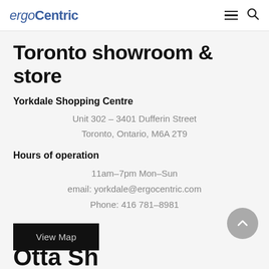ergoCentric
Toronto showroom & store
Yorkdale Shopping Centre
Unit 302 – 3401 Dufferin Street
Toronto, Ontario, M6A 2T9
Hours of operation
11am–7pm Mon–Sun
email: yorkdale@ergocentric.com
Phone: 416 781–8981
View Map
Otta Sh